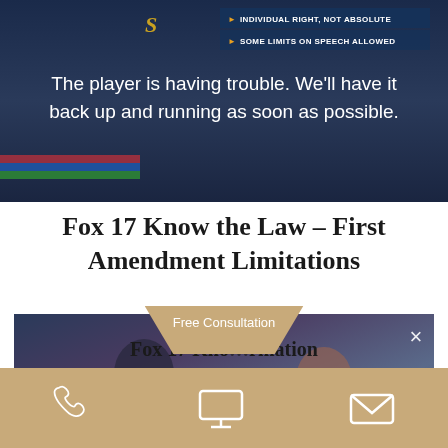[Figure (screenshot): Video player showing error message: 'The player is having trouble. We'll have it back up and running as soon as possible.' with overlay badges 'INDIVIDUAL RIGHT, NOT ABSOLUTE' and 'SOME LIMITS ON SPEECH ALLOWED']
Fox 17 Know the Law – First Amendment Limitations
[Figure (screenshot): Video player showing two people in a 'Know the Law' TV segment with a close (X) button in the top right corner]
Free Consultation
Fox 17 Kno...formation
[Figure (other): Bottom navigation bar with phone icon, monitor/screen icon, and email icon on a tan/gold background]